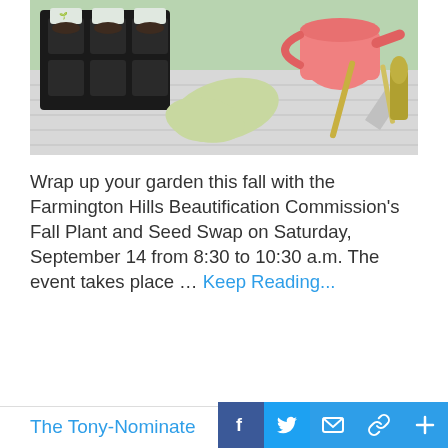[Figure (photo): Gardening supplies on a white table: seedling trays, colorful gardening gloves, a pink watering can, and garden tools.]
Wrap up your garden this fall with the Farmington Hills Beautification Commission's Fall Plant and Seed Swap on Saturday, September 14 from 8:30 to 10:30 a.m. The event takes place ... Keep Reading...
The Tony-Nominated Mus...